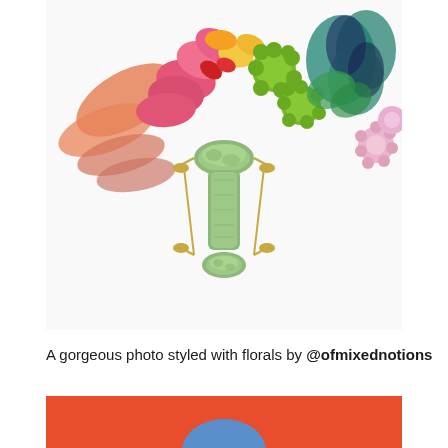[Figure (photo): A jade facial roller styled with colorful florals on a white background. Flowers include pink, orange, green chrysanthemums, and various petals arranged around a jade roller tool.]
A gorgeous photo styled with florals by @ofmixednotions
[Figure (photo): Partial view of a photo with a red/orange background and a blue rounded object at the bottom.]